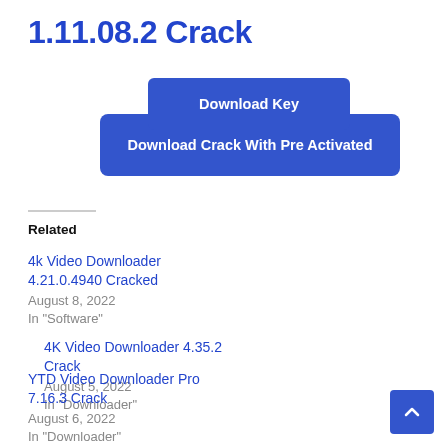1.11.08.2 Crack
[Figure (other): Download Key button - blue rectangular button with white bold text 'Download Key']
[Figure (other): Download Crack With Pre Activated button - wide blue rectangular button with white bold text]
Related
4k Video Downloader 4.21.0.4940 Cracked
August 8, 2022
In "Software"
4K Video Downloader 4.35.2 Crack
August 5, 2022
In "Downloader"
YTD Video Downloader Pro 7.16.3 Crack
August 6, 2022
In "Downloader"